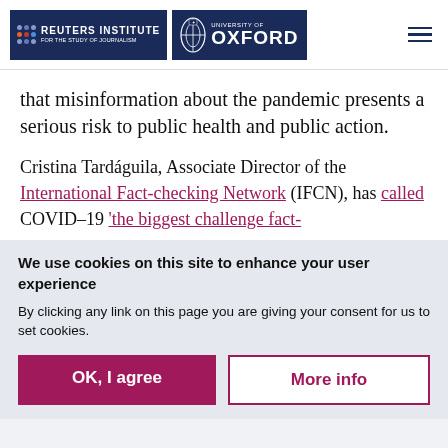Reuters Institute for the Study of Journalism | University of Oxford
that misinformation about the pandemic presents a serious risk to public health and public action.
Cristina Tardáguila, Associate Director of the International Fact-checking Network (IFCN), has called COVID–19 'the biggest challenge fact-
We use cookies on this site to enhance your user experience
By clicking any link on this page you are giving your consent for us to set cookies.
OK, I agree | More info